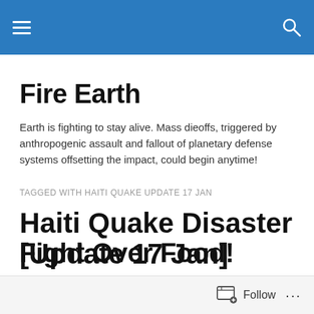Fire Earth — navigation header with hamburger menu and search icon
Fire Earth
Earth is fighting to stay alive. Mass dieoffs, triggered by anthropogenic assault and fallout of planetary defense systems offsetting the impact, could begin anytime!
TAGGED WITH HAITI QUAKE UPDATE 17 JAN
Haiti Quake Disaster [Update 17 Jan]
Fight Over Food!
Follow ...